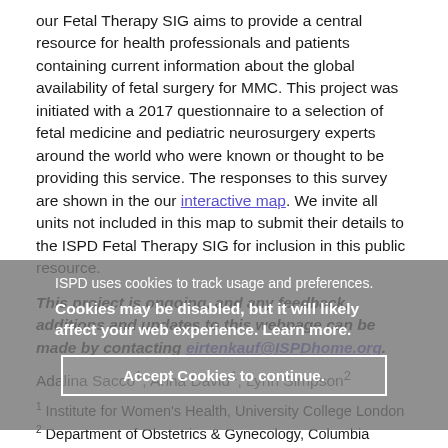our Fetal Therapy SIG aims to provide a central resource for health professionals and patients containing current information about the global availability of fetal surgery for MMC. This project was initiated with a 2017 questionnaire to a selection of fetal medicine and pediatric neurosurgery experts around the world who were known or thought to be providing this service. The responses to this survey are shown in the our interactive map. We invite all units not included in this map to submit their details to the ISPD Fetal Therapy SIG for inclusion in this public resource.
This project is ongoing, and any feedback, additions and updates to this webpage can be made by contacting eirtenkauf@ISPDhome.org.
Adalina Sacco1, Anna David1, Lynn Simpson2
1 Institute for Women's Health, University College London
2 Department of Obstetrics & Gynecology, Columbia University Medical Center
Reference
1. Adzick et al N Engl J Med 2011; 364:993-1004